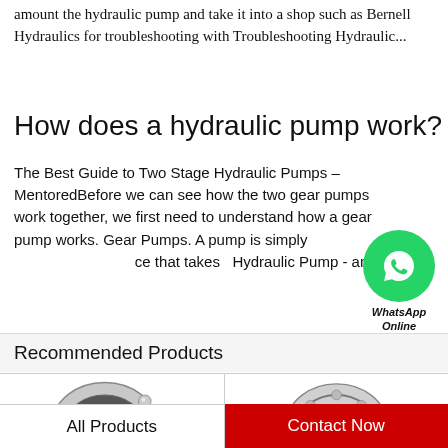amount the hydraulic pump and take it into a shop such as Bernell Hydraulics for troubleshooting with Troubleshooting Hydraulic...
How does a hydraulic pump work?
The Best Guide to Two Stage Hydraulic Pumps – MentoredBefore we can see how the two gear pumps work together, we first need to understand how a gear pump works. Gear Pumps. A pump is simply a device that takes  Hydraulic Pump - an...
[Figure (logo): WhatsApp green circle icon with phone handset, labeled WhatsApp Online]
Recommended Products
[Figure (photo): Ball bearing product image on left]
[Figure (photo): Ball bearing product image on right]
All Products
Contact Now